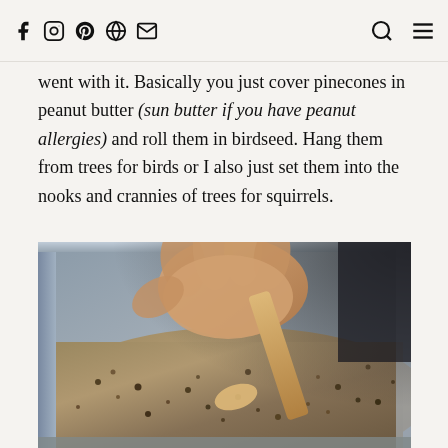Social media icons and navigation: Facebook, Instagram, Pinterest, Globe, Email, Search, Menu
went with it. Basically you just cover pinecones in peanut butter (sun butter if you have peanut allergies) and roll them in birdseed. Hang them from trees for birds or I also just set them into the nooks and crannies of trees for squirrels.
[Figure (photo): Child's hand stirring birdseed in an aluminum foil tray with a wooden spatula]